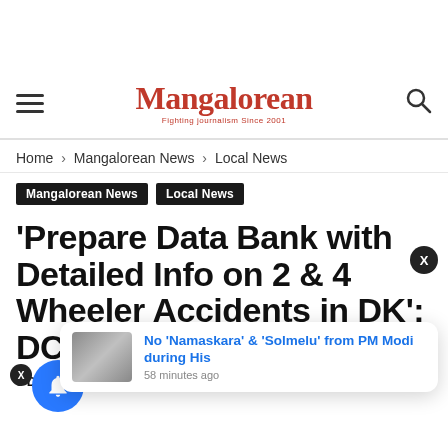Mangalorean
Home › Mangalorean News › Local News
Mangalorean News  Local News
'Prepare Data Bank with Detailed Info on 2 & 4 Wheeler Accidents in DK': DC Dire
e Dsouza, Team Mangalorean. - January 12, 2022